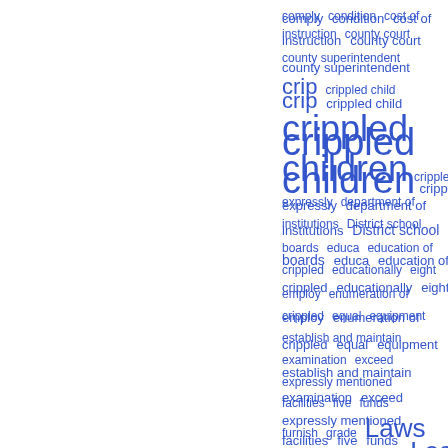[Figure (other): Word cloud of legal/legislative terms related to crippled children education, displayed in blue text at varying sizes. Terms include: comply, condition, cost of instruction, county court, county superintendent, crip, crippled child, crippled children (largest), cripples not expressly, department of institutions, District school boards, educa, education of crippled, educationally, eight, employ, enumeration of crippled, equal, equipment, establish and maintain, examination, exceed, expressly mentioned, facilities, five, funds, furnish, grade, Laws, LEGISLATION, less, Local]